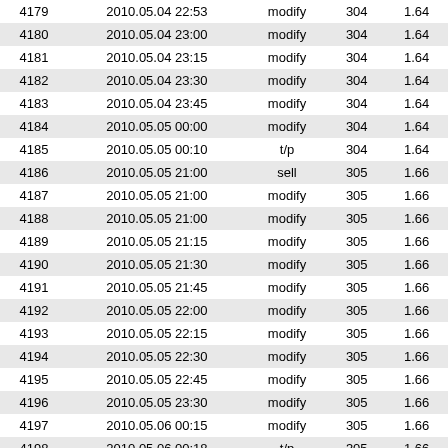| 4179 | 2010.05.04 22:53 | modify | 304 | 1.64 |
| 4180 | 2010.05.04 23:00 | modify | 304 | 1.64 |
| 4181 | 2010.05.04 23:15 | modify | 304 | 1.64 |
| 4182 | 2010.05.04 23:30 | modify | 304 | 1.64 |
| 4183 | 2010.05.04 23:45 | modify | 304 | 1.64 |
| 4184 | 2010.05.05 00:00 | modify | 304 | 1.64 |
| 4185 | 2010.05.05 00:10 | t/p | 304 | 1.64 |
| 4186 | 2010.05.05 21:00 | sell | 305 | 1.66 |
| 4187 | 2010.05.05 21:00 | modify | 305 | 1.66 |
| 4188 | 2010.05.05 21:00 | modify | 305 | 1.66 |
| 4189 | 2010.05.05 21:15 | modify | 305 | 1.66 |
| 4190 | 2010.05.05 21:30 | modify | 305 | 1.66 |
| 4191 | 2010.05.05 21:45 | modify | 305 | 1.66 |
| 4192 | 2010.05.05 22:00 | modify | 305 | 1.66 |
| 4193 | 2010.05.05 22:15 | modify | 305 | 1.66 |
| 4194 | 2010.05.05 22:30 | modify | 305 | 1.66 |
| 4195 | 2010.05.05 22:45 | modify | 305 | 1.66 |
| 4196 | 2010.05.05 23:30 | modify | 305 | 1.66 |
| 4197 | 2010.05.06 00:15 | modify | 305 | 1.66 |
| 4198 | 2010.05.06 00:18 | t/p | 305 | 1.66 |
| 4199 | 2010.05.06 21:13 | buy | 306 | 1.67 |
| 4200 | 2010.05.06 21:13 | modify | 306 | 1.67 |
| 4201 | 2010.05.06 21:13 | modify | 306 | 1.67 |
| 4202 | 2010.05.06 21:15 | modify | 306 | 1.67 |